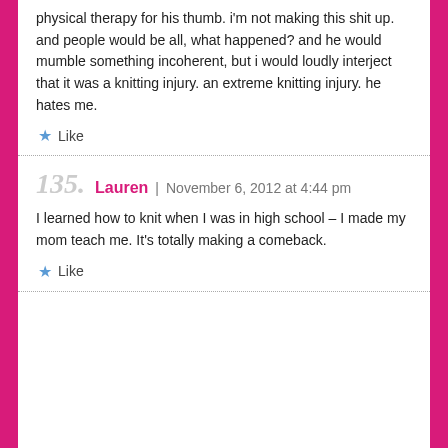physical therapy for his thumb. i'm not making this shit up. and people would be all, what happened? and he would mumble something incoherent, but i would loudly interject that it was a knitting injury. an extreme knitting injury. he hates me.
★ Like
135. Lauren | November 6, 2012 at 4:44 pm
I learned how to knit when I was in high school – I made my mom teach me. It's totally making a comeback.
★ Like